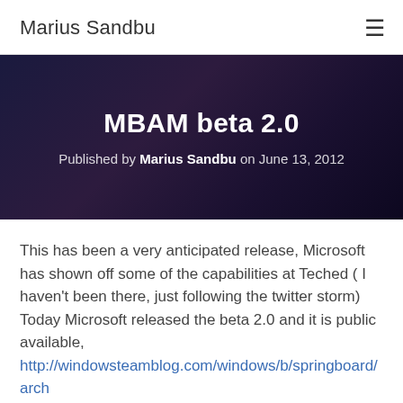Marius Sandbu
MBAM beta 2.0
Published by Marius Sandbu on June 13, 2012
This has been a very anticipated release, Microsoft has shown off some of the capabilities at Teched ( I haven't been there, just following the twitter storm)
Today Microsoft released the beta 2.0 and it is public available,
http://windowsteamblog.com/windows/b/springboard/arch ive/2012/06/13/introducing-microsoft-bitlocker...